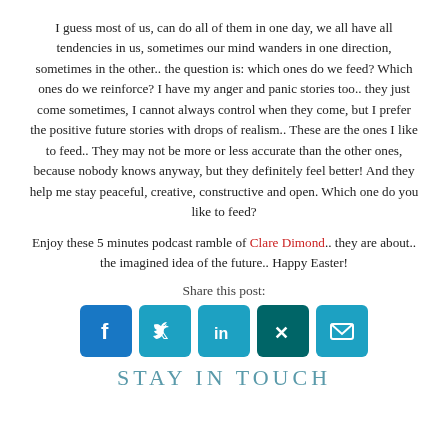I guess most of us, can do all of them in one day, we all have all tendencies in us, sometimes our mind wanders in one direction, sometimes in the other.. the question is: which ones do we feed? Which ones do we reinforce? I have my anger and panic stories too.. they just come sometimes, I cannot always control when they come, but I prefer the positive future stories with drops of realism.. These are the ones I like to feed.. They may not be more or less accurate than the other ones, because nobody knows anyway, but they definitely feel better! And they help me stay peaceful, creative, constructive and open. Which one do you like to feed?
Enjoy these 5 minutes podcast ramble of Clare Dimond.. they are about.. the imagined idea of the future.. Happy Easter!
Share this post:
[Figure (infographic): Social sharing icons: Facebook (blue), Twitter (cyan), LinkedIn (cyan), Xing (dark teal), Email (cyan)]
Stay in Touch